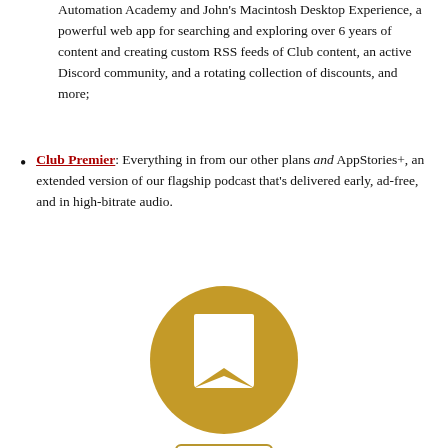Automation Academy and John's Macintosh Desktop Experience, a powerful web app for searching and exploring over 6 years of content and creating custom RSS feeds of Club content, an active Discord community, and a rotating collection of discounts, and more;
Club Premier: Everything in from our other plans and AppStories+, an extended version of our flagship podcast that's delivered early, ad-free, and in high-bitrate audio.
[Figure (logo): Gold circle with a white bookmark/ribbon icon inside it, representing a club membership logo.]
JOIN